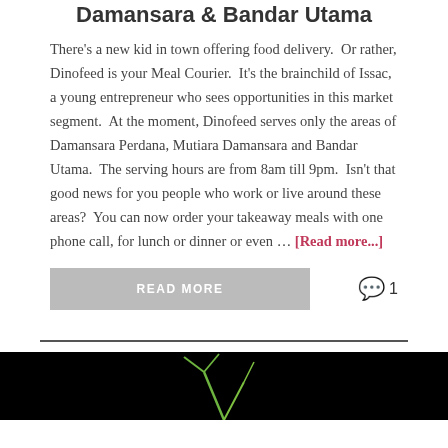Damansara & Bandar Utama
There's a new kid in town offering food delivery.  Or rather, Dinofeed is your Meal Courier.  It's the brainchild of Issac, a young entrepreneur who sees opportunities in this market segment.  At the moment, Dinofeed serves only the areas of Damansara Perdana, Mutiara Damansara and Bandar Utama.  The serving hours are from 8am till 9pm.  Isn't that good news for you people who work or live around these areas?  You can now order your takeaway meals with one phone call, for lunch or dinner or even … [Read more...]
READ MORE
1
[Figure (photo): Dark background with green plant shoots]